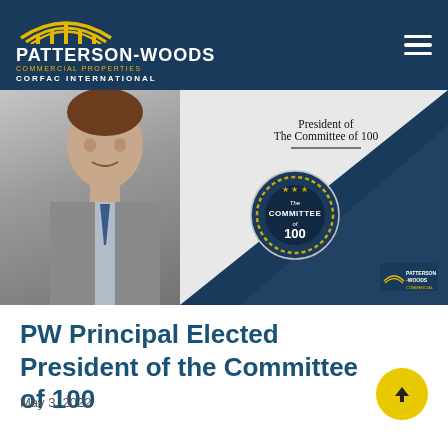PATTERSON-WOODS COMMERCIAL PROPERTIES CORFAC INTERNATIONAL
[Figure (photo): Banner image showing a man in a grey suit on the left and a navy/white diagonal background on the right with 'President of The Committee of 100' text and the Committee of 100 medallion badge, along with the Patterson-Woods logo in the bottom right corner.]
PW Principal Elected President of the Committee of 100
May 3, 2022